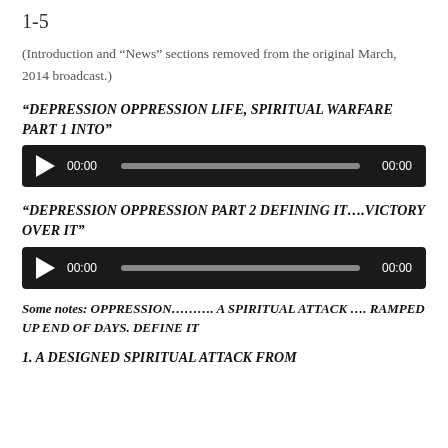1-5
(Introduction and “News” sections removed from the original March, 2014 broadcast.)
“DEPRESSION OPPRESSION LIFE, SPIRITUAL WARFARE PART 1 INTO”
[Figure (other): Audio player with play button, 00:00 time display, progress bar, and 00:00 end time on dark background]
“DEPRESSION OPPRESSION PART 2 DEFINING IT….VICTORY OVER IT”
[Figure (other): Audio player with play button, 00:00 time display, progress bar, and 00:00 end time on dark background]
Some notes: OPPRESSION………. A SPIRITUAL ATTACK …. RAMPED UP END OF DAYS. DEFINE IT
1. A DESIGNED SPIRITUAL ATTACK FROM